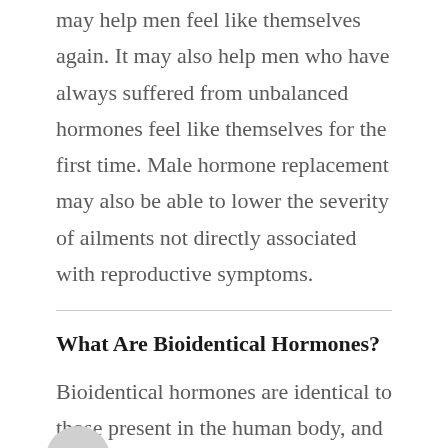may help men feel like themselves again. It may also help men who have always suffered from unbalanced hormones feel like themselves for the first time. Male hormone replacement may also be able to lower the severity of ailments not directly associated with reproductive symptoms.
What Are Bioidentical Hormones?
Bioidentical hormones are identical to those present in the human body, and closely resemble the molecular structure